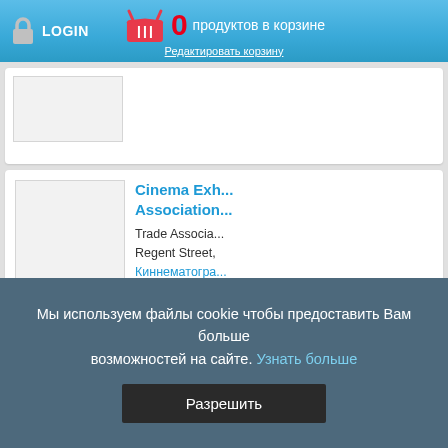LOGIN | 0 продуктов в корзине | Редактировать корзину
[Figure (screenshot): Partial product card with image placeholder, cut off at top]
Cinema Exh... Association...
Trade Associa... Regent Street, Киннематогра... Crypt Publishing 620-0-90606-9
Genesis Ho... Association...
Housing assoc... (business), Fo... Н...
Мы используем файлы cookie чтобы предоставить Вам больше возможностей на сайте. Узнать больше
Разрешить